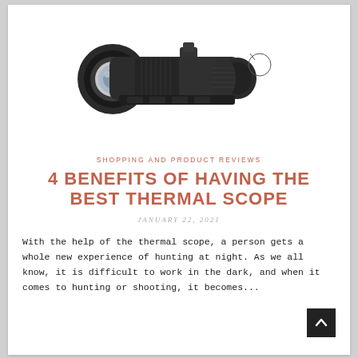[Figure (photo): A thermal rifle scope / night vision optic, black in color, shown at an angle against a white background. The scope has a large objective lens, textured grip area, and eye cup adjustment ring.]
SHOPPING AND PRODUCT REVIEWS
4 BENEFITS OF HAVING THE BEST THERMAL SCOPE
JANUARY 22, 2021
With the help of the thermal scope, a person gets a whole new experience of hunting at night. As we all know, it is difficult to work in the dark, and when it comes to hunting or shooting, it becomes...